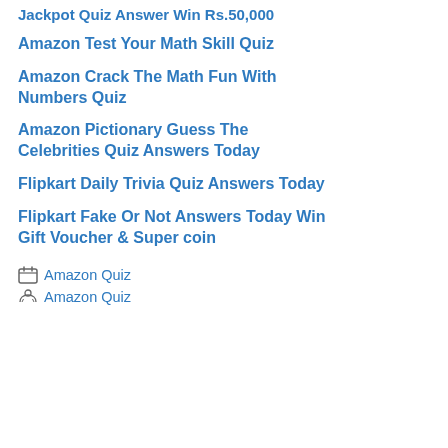Jackpot Quiz Answer Win Rs.50,000
Amazon Test Your Math Skill Quiz
Amazon Crack The Math Fun With Numbers Quiz
Amazon Pictionary Guess The Celebrities Quiz Answers Today
Flipkart Daily Trivia Quiz Answers Today
Flipkart Fake Or Not Answers Today Win Gift Voucher & Super coin
Amazon Quiz
Amazon Quiz